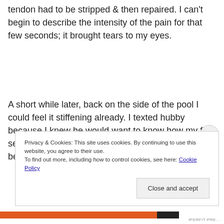tendon had to be stripped & then repaired. I can't begin to describe the intensity of the pain for that few seconds; it brought tears to my eyes.
A short while later, back on the side of the pool I could feel it stiffening already. I texted hubby because I knew he would want to know how my first session had gone. As he rightly pointed out I should be proud of myself for getting
Privacy & Cookies: This site uses cookies. By continuing to use this website, you agree to their use.
To find out more, including how to control cookies, see here: Cookie Policy